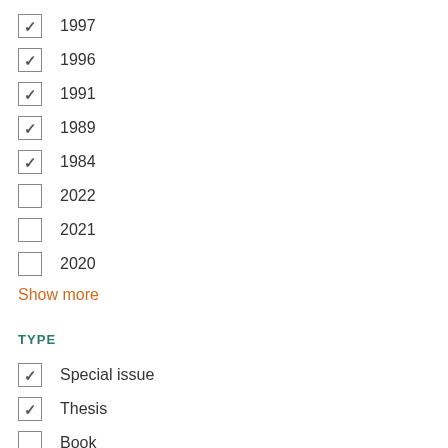✓ 1997
✓ 1996
✓ 1991
✓ 1989
✓ 1984
2022
2021
2020
Show more
TYPE
✓ Special issue
✓ Thesis
Book
Book chapter
Journal article
Proceedings paper